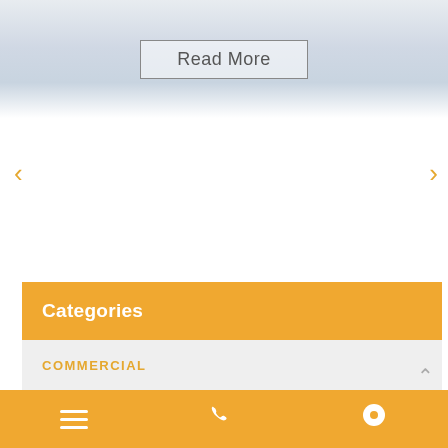[Figure (photo): Top banner image with marble/stone texture background and a 'Read More' button with border]
<
>
Categories
COMMERCIAL
DOMESTIC
GENERAL NEWS
UNCATEGORIZED
Menu | Phone | Location icons